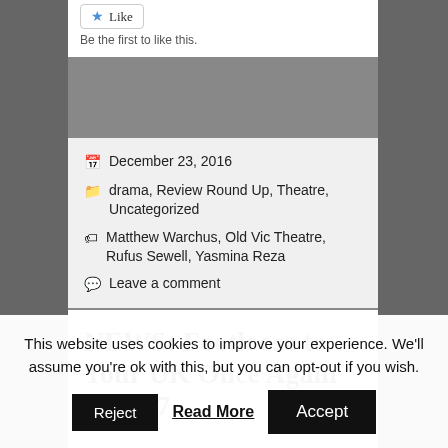Be the first to like this.
December 23, 2016
drama, Review Round Up, Theatre, Uncategorized
Matthew Warchus, Old Vic Theatre, Rufus Sewell, Yasmina Reza
Leave a comment
NEWS: Footloose to Tour UK Once Again in 2017
This website uses cookies to improve your experience. We'll assume you're ok with this, but you can opt-out if you wish.